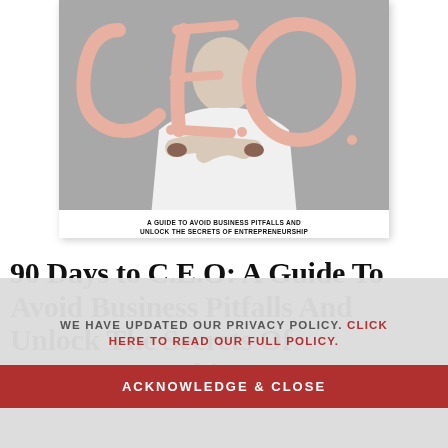[Figure (photo): Book cover for '90 Days to C.E.O.' showing a person in white with arms crossed, large pink/rose script letters C.E.O. overlaid, grey background. Subtitle: 'A GUIDE TO AVOID BUSINESS PITFALLS AND UNLOCK THE SECRETS OF ENTREPRENEURSHIP']
90 Days to C.E.O: A Guide To Avoid Business Pitfalls And Unlock The Secrets Of Entrepreneurship
WE HAVE UPDATED OUR PRIVACY POLICY. CLICK HERE TO READ OUR FULL POLICY.
ACKNOWLEDGE & CLOSE